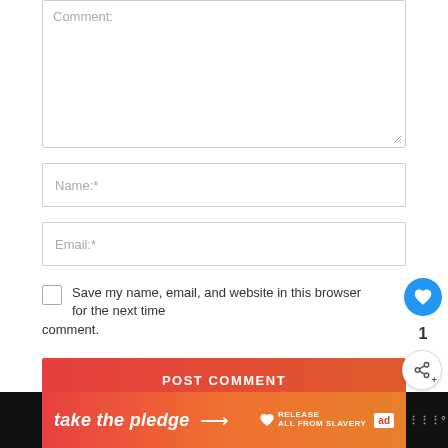Comment:
Name:*
Email:*
Save my name, email, and website in this browser for the next time I comment.
POST COMMENT
[Figure (screenshot): Web page comment form UI with textarea, name and email fields, checkbox for saving info, and a red POST COMMENT button. Blue heart floating action button with count 1 and share button on right side.]
[Figure (infographic): Orange advertisement banner reading 'take the pledge' with arrow, Release logo, and education badge icons]